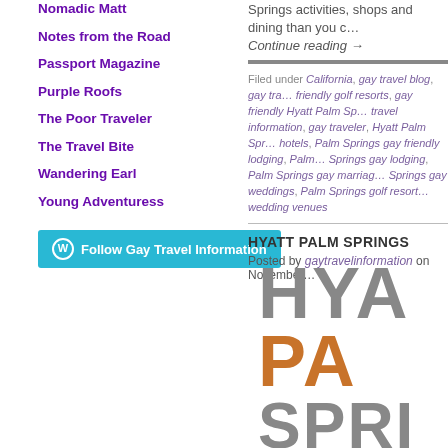Nomadic Matt
Notes from the Road
Passport Magazine
Purple Roofs
The Poor Traveler
The Travel Bite
Wandering Earl
Young Adventuress
Follow Gay Travel Information
Springs activities, shops and dining than you c…  Continue reading →
Filed under California, gay travel blog, gay tra… friendly golf resorts, gay friendly Hyatt Palm Sp… travel information, gay traveler, Hyatt Palm Spr… hotels, Palm Springs gay friendly lodging, Palm… Springs gay lodging, Palm Springs gay marriag… Springs gay weddings, Palm Springs golf resort… wedding venues
HYATT PALM SPRINGS
Posted by gaytravelinformation on November…
[Figure (logo): Hyatt Palm Springs logo with large stylized text HYA, PA, SPRI in gray and orange colors]